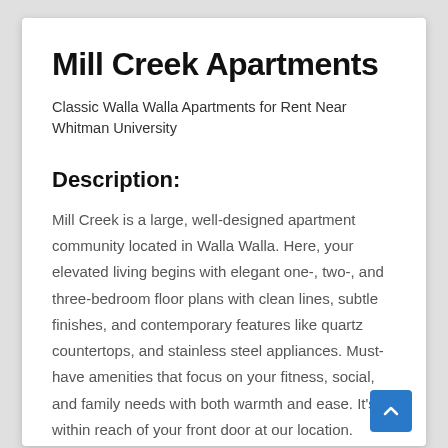Mill Creek Apartments
Classic Walla Walla Apartments for Rent Near Whitman University
Description:
Mill Creek is a large, well-designed apartment community located in Walla Walla. Here, your elevated living begins with elegant one-, two-, and three-bedroom floor plans with clean lines, subtle finishes, and contemporary features like quartz countertops, and stainless steel appliances. Must-have amenities that focus on your fitness, social, and family needs with both warmth and ease. It's all within reach of your front door at our location.